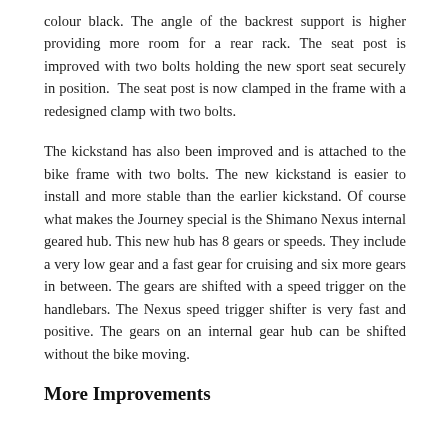colour black. The angle of the backrest support is higher providing more room for a rear rack. The seat post is improved with two bolts holding the new sport seat securely in position.  The seat post is now clamped in the frame with a redesigned clamp with two bolts.
The kickstand has also been improved and is attached to the bike frame with two bolts. The new kickstand is easier to install and more stable than the earlier kickstand. Of course what makes the Journey special is the Shimano Nexus internal geared hub. This new hub has 8 gears or speeds. They include a very low gear and a fast gear for cruising and six more gears in between. The gears are shifted with a speed trigger on the handlebars. The Nexus speed trigger shifter is very fast and positive. The gears on an internal gear hub can be shifted without the bike moving.
More Improvements